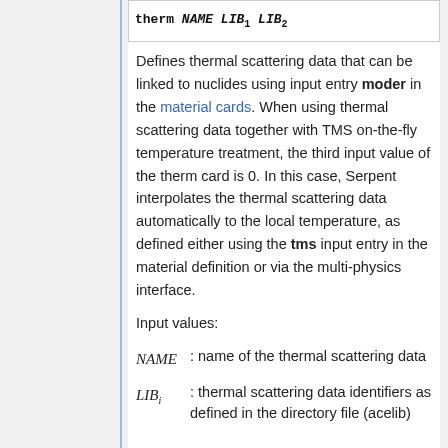therm NAME LIB1 LIB2 (code/command box at top)
Defines thermal scattering data that can be linked to nuclides using input entry moder in the material cards. When using thermal scattering data together with TMS on-the-fly temperature treatment, the third input value of the therm card is 0. In this case, Serpent interpolates the thermal scattering data automatically to the local temperature, as defined either using the tms input entry in the material definition or via the multi-physics interface.
Input values:
NAME : name of the thermal scattering data
LIBi : thermal scattering data identifiers as defined in the directory file (acelib)